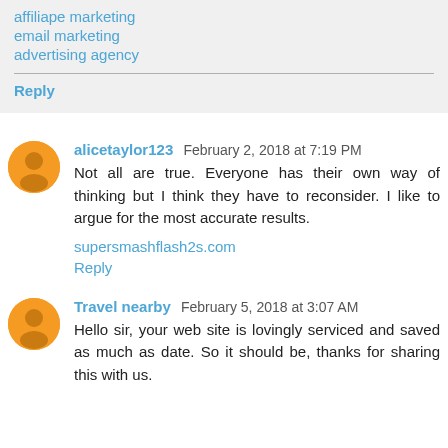affiliape marketing
email marketing
advertising agency
Reply
alicetaylor123  February 2, 2018 at 7:19 PM
Not all are true. Everyone has their own way of thinking but I think they have to reconsider. I like to argue for the most accurate results.
supersmashflash2s.com
Reply
Travel nearby  February 5, 2018 at 3:07 AM
Hello sir, your web site is lovingly serviced and saved as much as date. So it should be, thanks for sharing this with us.